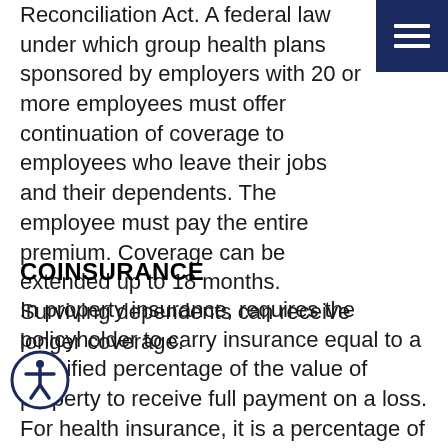Reconciliation Act. A federal law under which group health plans sponsored by employers with 20 or more employees must offer continuation of coverage to employees who leave their jobs and their dependents. The employee must pay the entire premium. Coverage can be extended up to 18 months. Surviving dependents can receive longer coverage.
COINSURANCE
In property insurance, requires the policyholder to carry insurance equal to a specified percentage of the value of property to receive full payment on a loss. For health insurance, it is a percentage of each claim above the deductible paid by the policyholder. For a 20 percent health insurance coinsurance clause, the policyholder pays for the deductible plus 20 percent of his